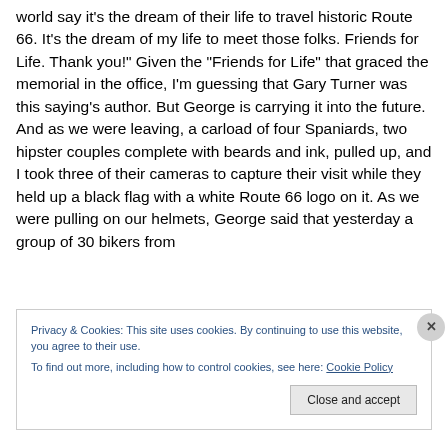world say it's the dream of their life to travel historic Route 66. It's the dream of my life to meet those folks. Friends for Life. Thank you!" Given the “Friends for Life” that graced the memorial in the office, I’m guessing that Gary Turner was this saying’s author. But George is carrying it into the future. And as we were leaving, a carload of four Spaniards, two hipster couples complete with beards and ink, pulled up, and I took three of their cameras to capture their visit while they held up a black flag with a white Route 66 logo on it. As we were pulling on our helmets, George said that yesterday a group of 30 bikers from
Privacy & Cookies: This site uses cookies. By continuing to use this website, you agree to their use.
To find out more, including how to control cookies, see here: Cookie Policy